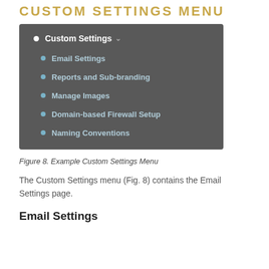CUSTOM SETTINGS MENU
[Figure (screenshot): Screenshot of a dropdown navigation menu showing 'Custom Settings' with a chevron/arrow, and sub-items: Email Settings, Reports and Sub-branding, Manage Images, Domain-based Firewall Setup, Naming Conventions. Dark grey background with white and light blue text.]
Figure 8.  Example Custom Settings Menu
The Custom Settings menu (Fig. 8) contains the Email Settings page.
Email Settings